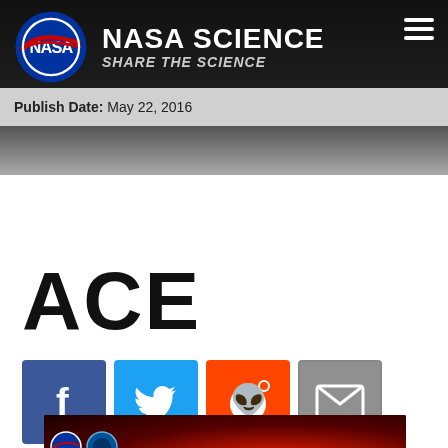NASA SCIENCE – SHARE THE SCIENCE
Publish Date: May 22, 2016
ACE
[Figure (infographic): Social media sharing icons: Facebook (blue), Twitter (light blue), Reddit (orange), Email (gray)]
[Figure (photo): Dark reddish image of a solar event with NASA and NOAA logos visible at bottom left]